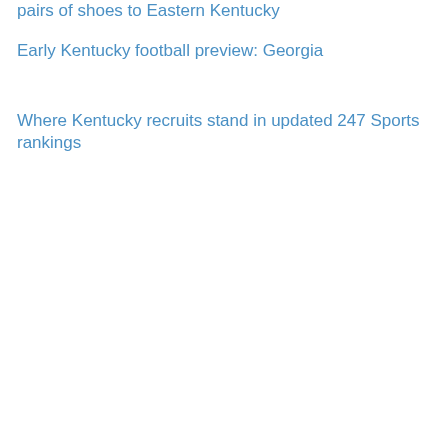pairs of shoes to Eastern Kentucky
Early Kentucky football preview: Georgia
Where Kentucky recruits stand in updated 247 Sports rankings